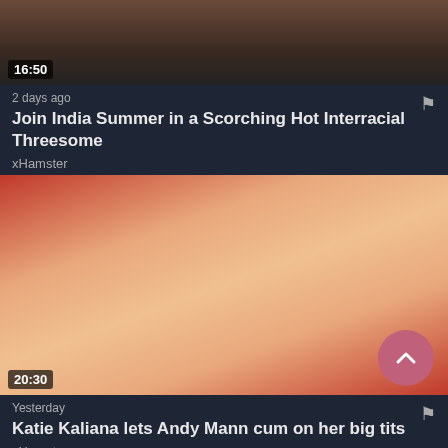[Figure (screenshot): Video thumbnail, partially cropped at top, showing duration badge 16:50]
2 days ago
Join India Summer in a Scorching Hot Interracial Threesome
xHamster
[Figure (screenshot): Video thumbnail showing a blonde woman, duration badge 20:30]
Yesterday
Katie Kaliana lets Andy Mann cum on her big tits
xHamster
[Figure (screenshot): Partially visible video thumbnail at bottom of page]